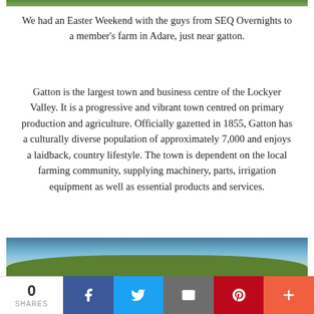[Figure (photo): Top portion of a landscape/farm photo, showing green vegetation strip at top of page]
We had an Easter Weekend with the guys from SEQ Overnights to a member's farm in Adare, just near gatton.
Gatton is the largest town and business centre of the Lockyer Valley. It is a progressive and vibrant town centred on primary production and agriculture. Officially gazetted in 1855, Gatton has a culturally diverse population of approximately 7,000 and enjoys a laidback, country lifestyle. The town is dependent on the local farming community, supplying machinery, parts, irrigation equipment as well as essential products and services.
[Figure (photo): Bottom portion of a landscape photo showing trees and sky near Adare/Gatton area]
0 SHARES | Facebook | Twitter | Email | Pinterest | More